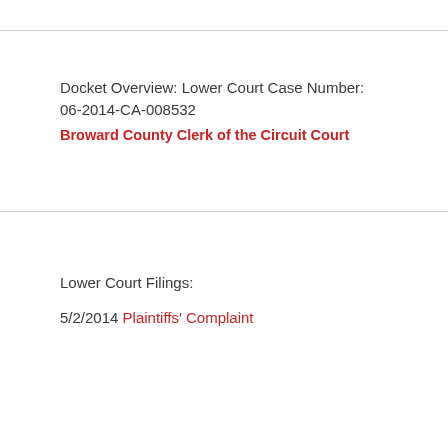Docket Overview: Lower Court Case Number: 06-2014-CA-008532
Broward County Clerk of the Circuit Court
Lower Court Filings:
5/2/2014 Plaintiffs' Complaint